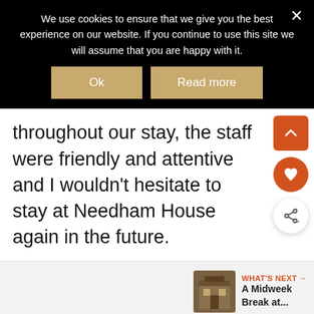We use cookies to ensure that we give you the best experience on our website. If you continue to use this site we will assume that you are happy with it.
Ok
Read more
throughout our stay, the staff were friendly and attentive and I wouldn't hesitate to stay at Needham House again in the future.
WHAT'S NEXT → A Midweek Break at...
Sterling OPEN 6AM–12AM 45131 Columbia Place, Sterling